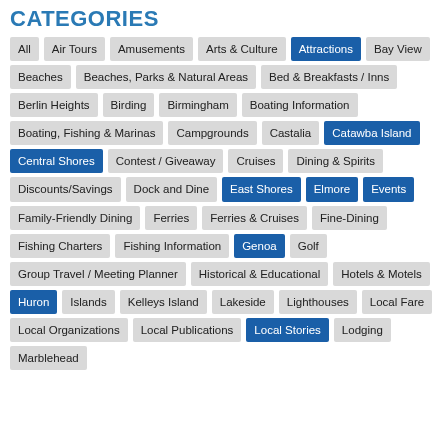CATEGORIES
All
Air Tours
Amusements
Arts & Culture
Attractions (active)
Bay View
Beaches
Beaches, Parks & Natural Areas
Bed & Breakfasts / Inns
Berlin Heights
Birding
Birmingham
Boating Information
Boating, Fishing & Marinas
Campgrounds
Castalia
Catawba Island (active)
Central Shores (active)
Contest / Giveaway
Cruises
Dining & Spirits
Discounts/Savings
Dock and Dine
East Shores (active)
Elmore (active)
Events (active)
Family-Friendly Dining
Ferries
Ferries & Cruises
Fine-Dining
Fishing Charters
Fishing Information
Genoa (active)
Golf
Group Travel / Meeting Planner
Historical & Educational
Hotels & Motels
Huron (active)
Islands
Kelleys Island
Lakeside
Lighthouses
Local Fare
Local Organizations
Local Publications
Local Stories (active)
Lodging
Marblehead